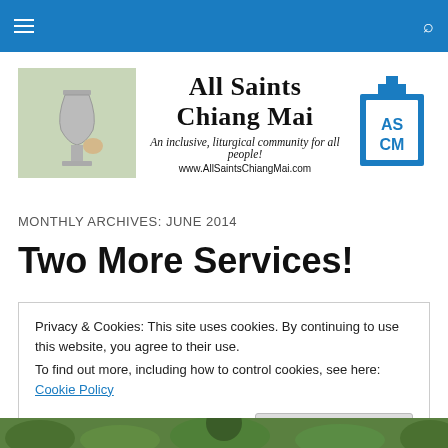All Saints Chiang Mai — navigation bar
[Figure (logo): All Saints Chiang Mai website header with chalice photo, church name in gothic font, tagline 'An inclusive, liturgical community for all people!', URL www.AllSaintsChiangMai.com, and blue ASCM cross icon]
MONTHLY ARCHIVES: JUNE 2014
Two More Services!
Privacy & Cookies: This site uses cookies. By continuing to use this website, you agree to their use.
To find out more, including how to control cookies, see here: Cookie Policy
[Figure (photo): Green foliage strip at bottom of page]